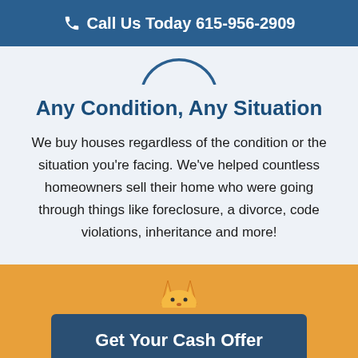Call Us Today 615-956-2909
[Figure (illustration): Partial circular logo arc in blue outline at top center of light section]
Any Condition, Any Situation
We buy houses regardless of the condition or the situation you're facing. We've helped countless homeowners sell their home who were going through things like foreclosure, a divorce, code violations, inheritance and more!
[Figure (illustration): Partial fox/animal icon in gold/yellow at top of orange section]
Get Your Cash Offer